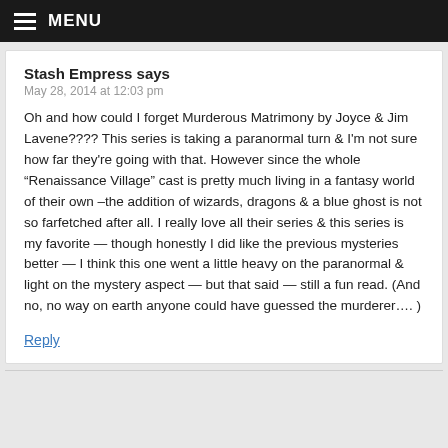MENU
Stash Empress says
May 28, 2014 at 12:03 pm
Oh and how could I forget Murderous Matrimony by Joyce & Jim Lavene???? This series is taking a paranormal turn & I'm not sure how far they're going with that. However since the whole “Renaissance Village” cast is pretty much living in a fantasy world of their own –the addition of wizards, dragons & a blue ghost is not so farfetched after all. I really love all their series & this series is my favorite — though honestly I did like the previous mysteries better — I think this one went a little heavy on the paranormal & light on the mystery aspect — but that said — still a fun read. (And no, no way on earth anyone could have guessed the murderer…. )
Reply